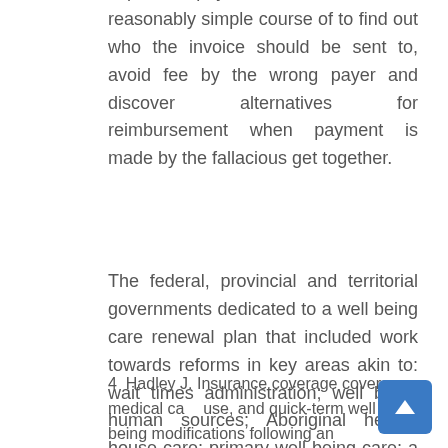expense payers, it could be a reasonably simple course of to find out who the invoice should be sent to, avoid fee by the wrong payer and discover alternatives for reimbursement when payment is made by the fallacious get together.
The federal, provincial and territorial governments dedicated to a well being care renewal plan that included work towards reforms in key areas akin to: wait times administration; well being human sources; Aboriginal health; house care; primary well being care; a national pharmaceutical strategy; health care services within the North; medical equipment; prevention, promotion and public well being; and enhanced reporting on progress made on these reforms.
4 Hadley J. Insurance coverage coverage, medical care use, and quick-term well being modifications following an unintentional harm or the onset of a chronic situation